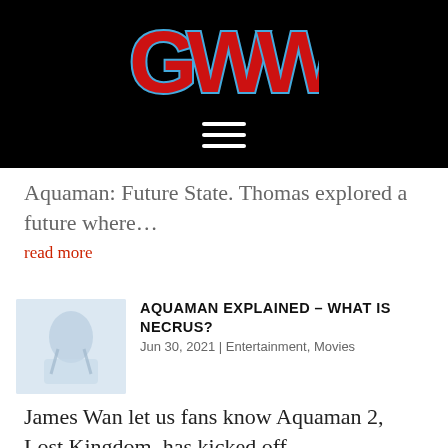[Figure (logo): GWW logo in red block letters with blue outline on black background]
[Figure (other): Hamburger menu icon (three white horizontal lines) on black background]
Aquaman: Future State. Thomas explored a future where…
read more
AQUAMAN EXPLAINED – WHAT IS NECRUS?
Jun 30, 2021 | Entertainment, Movies
[Figure (illustration): Small thumbnail image showing a figure in blue tones, likely Aquaman related artwork]
James Wan let us fans know Aquaman 2, Lost Kingdom, has kicked off